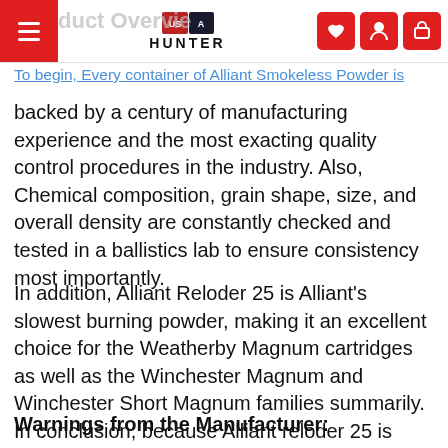Product Overview | HUNTER
To begin, Every container of Alliant Smokeless Powder is backed by a century of manufacturing experience and the most exacting quality control procedures in the industry. Also, Chemical composition, grain shape, size, and overall density are constantly checked and tested in a ballistics lab to ensure consistency most importantly.
In addition, Alliant Reloder 25 is Alliant's slowest burning powder, making it an excellent choice for the Weatherby Magnum cartridges as well as the Winchester Magnum and Winchester Short Magnum families summarily. In conclusion, because Alliant reloder 25 is slower burning, it creates a more crucial higher energy level for those dangerous game hunts when there's no room for error.
Warnings from the Manufacturer: